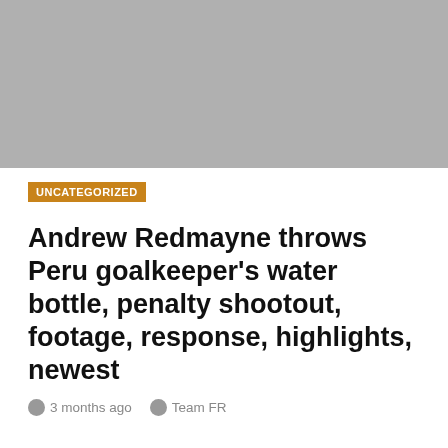[Figure (photo): Gray placeholder image area at the top of the page]
UNCATEGORIZED
Andrew Redmayne throws Peru goalkeeper’s water bottle, penalty shootout, footage, response, highlights, newest
3 months ago   Team FR
If Andrew Redmayne wasn’t a legend on account of his penalty shootout heroics towards Peru, then his cheekiest of strikes in the course of the tense finale will make